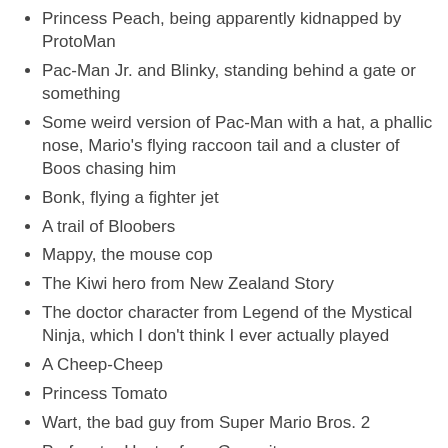Princess Peach, being apparently kidnapped by ProtoMan
Pac-Man Jr. and Blinky, standing behind a gate or something
Some weird version of Pac-Man with a hat, a phallic nose, Mario's flying raccoon tail and a cluster of Boos chasing him
Bonk, flying a fighter jet
A trail of Bloobers
Mappy, the mouse cop
The Kiwi hero from New Zealand Story
The doctor character from Legend of the Mystical Ninja, which I don't think I ever actually played
A Cheep-Cheep
Princess Tomato
Wart, the bad guy from Super Mario Bros. 2
Professtor Hector from Gyromite
Dr. Wily